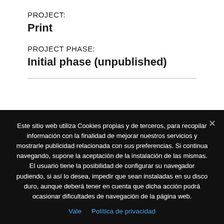PROJECT:
Print
PROJECT PHASE:
Initial phase (unpublished)
Este sitio web utiliza Cookies propias y de terceros, para recopilar información con la finalidad de mejorar nuestros servicios y mostrarle publicidad relacionada con sus preferencias. Si continua navegando, supone la aceptación de la instalación de las mismas. El usuario tiene la posibilidad de configurar su navegador pudiendo, si así lo desea, impedir que sean instaladas en su disco duro, aunque deberá tener en cuenta que dicha acción podrá ocasionar dificultades de navegación de la página web.
Vale   Política de privacidad